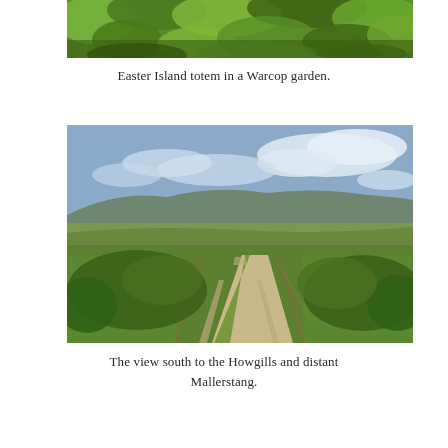[Figure (photo): Top portion of a photo showing dense green vegetation and shrubs, partial view of an Easter Island totem statue in a garden setting.]
Easter Island totem in a Warcop garden.
[Figure (photo): A rural dirt track with two wheel ruts and green grass in the centre, flanked by fencing and hedgerows, stretching into the distance toward rolling hills under a partly cloudy sky. The view south to the Howgills and distant Mallerstang.]
The view south to the Howgills and distant Mallerstang.